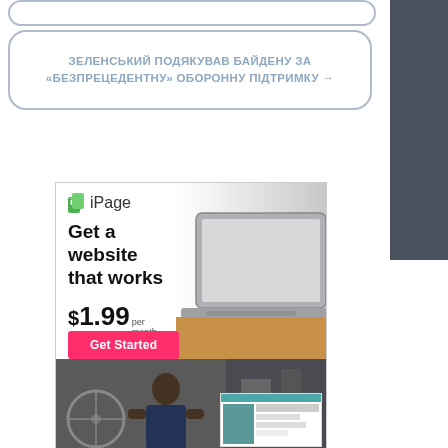(partially visible top button)
ЗЕЛЕНСЬКИЙ ПОДЯКУВАВ БАЙДЕНУ ЗА «БЕЗПРЕЦЕДЕНТНУ» ОБОРОННУ ПІДТРИМКУ →
[Figure (illustration): iPage web hosting advertisement. Upper section: iPage logo (green icon + text), bold headline 'Get a website that works', price '$1.99 per month', pink 'Get Started' button, laptop photo on right. Lower section: photo of man working in workshop/bicycle shop with website preview overlay in corner.]